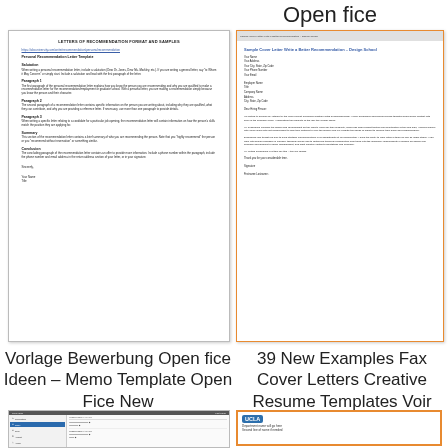Open fice
[Figure (screenshot): Thumbnail of a 'Letters of Recommendation Format and Samples' document with personal recommendation letter template sections including Salutation, Paragraph 1, Paragraph 2, Paragraph 3, Summary, Conclusion, and signature.]
[Figure (screenshot): Thumbnail of a cover letter document with header bar, sender address, recipient address, and several paragraphs of body text. Orange border.]
Vorlage Bewerbung Open fice Ideen – Memo Template Open Fice New
39 New Examples Fax Cover Letters Creative Resume Templates Voir
[Figure (screenshot): Screenshot of an email or file manager application with a dark top bar, left sidebar with folders/labels including Inbox (highlighted blue), Sent, Spam, Trash, and a main content area with a list of emails.]
[Figure (screenshot): UCLA letterhead document with UCLA blue badge logo and text lines below. Orange border.]